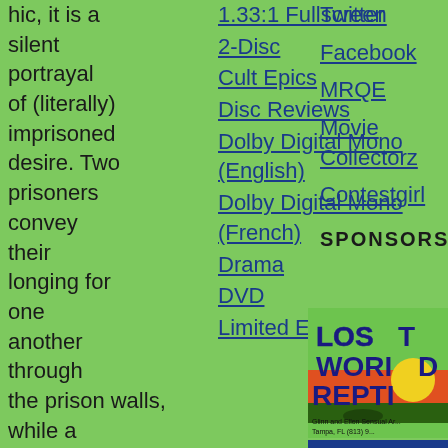hic, it is a silent portrayal of (literally) imprisoned desire. Two prisoners convey their longing for one another through the prison walls, while a voyeuristic guard watches, becoming aroused and frustrated to the point of
1.33:1 Fullscreen
2-Disc
Cult Epics
Disc Reviews
Dolby Digital Mono (English)
Dolby Digital Mono (French)
Drama
DVD
Limited Edition
Twitter
Facebook
MRQE
Movie Collectorz
Contestgirl
SPONSORS
[Figure (logo): Lost World Reptiles sponsor logo with colorful text and reptile illustration, text reads: Glinn and Ellen Sensual Ar... Tampa, FL (813) 9...]